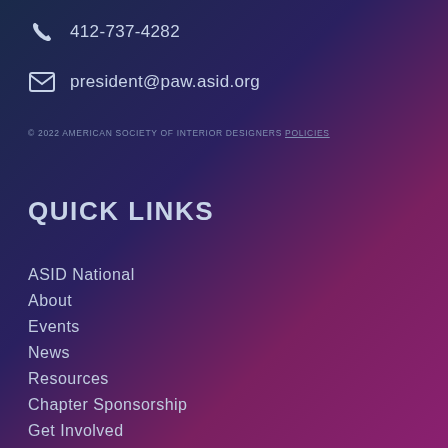412-737-4282
president@paw.asid.org
© 2022 AMERICAN SOCIETY OF INTERIOR DESIGNERS POLICIES
QUICK LINKS
ASID National
About
Events
News
Resources
Chapter Sponsorship
Get Involved
Join